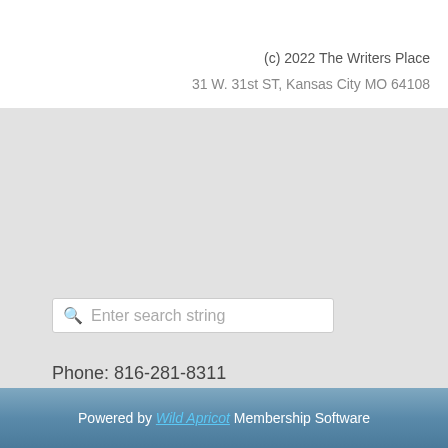(c) 2022 The Writers Place
31 W. 31st ST, Kansas City MO 64108
Enter search string
Phone: 816-281-8311
Email: info@writersplace.org
Powered by Wild Apricot Membership Software